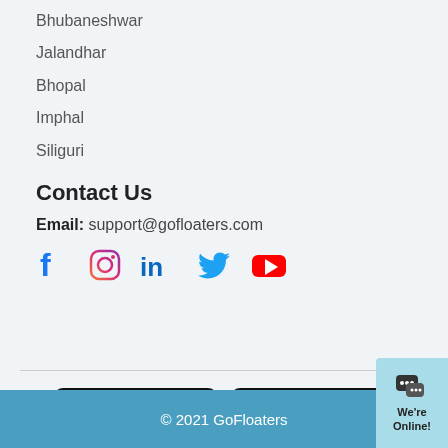Bhubaneshwar
Jalandhar
Bhopal
Imphal
Siliguri
Contact Us
Email: support@gofloaters.com
[Figure (infographic): Social media icons: Facebook, Instagram, LinkedIn, Twitter, YouTube]
[Figure (infographic): Google Play store download badge]
[Figure (infographic): Apple App Store download badge]
© 2021 GoFloaters